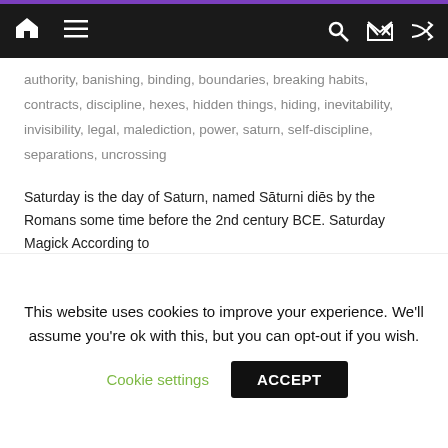Navigation bar with home, menu, search, and shuffle icons
authority, banishing, binding, boundaries, breaking habits, contracts, discipline, hexes, hidden things, hiding, inevitability, invisibility, legal, malediction, power, saturn, self-discipline, separations, uncrossing
Saturday is the day of Saturn, named Saturni dies by the Romans some time before the 2nd century BCE. Saturday Magick According to
Share this:
Twitter  Facebook  Reddit  Tumblr
This website uses cookies to improve your experience. We'll assume you're ok with this, but you can opt-out if you wish.
Cookie settings  ACCEPT